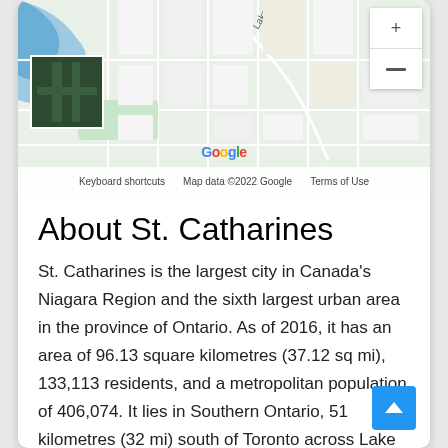[Figure (map): Google Maps screenshot showing St. Catharines area with road network, a satellite thumbnail in top-left, map controls top-right, Google logo, and footer bar with 'Keyboard shortcuts', 'Map data ©2022 Google', 'Terms of Use']
About St. Catharines
St. Catharines is the largest city in Canada's Niagara Region and the sixth largest urban area in the province of Ontario. As of 2016, it has an area of 96.13 square kilometres (37.12 sq mi), 133,113 residents, and a metropolitan population of 406,074. It lies in Southern Ontario, 51 kilometres (32 mi) south of Toronto across Lake Ontario, and is 19 kilometres (12 mi) inland from the international boundary with the United States